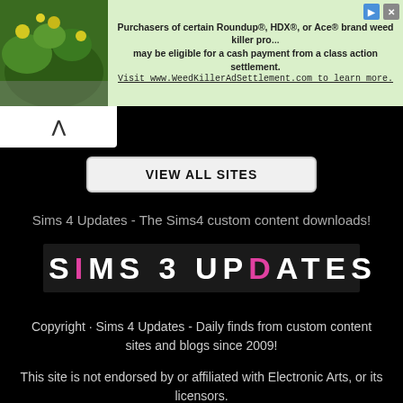[Figure (photo): Advertisement banner with green plant photo on left and text about Roundup/HDX/Ace weed killer class action settlement on light green background]
VIEW ALL SITES
Sims 4 Updates - The Sims4 custom content downloads!
[Figure (logo): Sims 3 Updates logo with white block letters on dark background, pink 'I' in SIMS and pink 'D' in UPDATES]
Copyright · Sims 4 Updates - Daily finds from custom content sites and blogs since 2009!
This site is not endorsed by or affiliated with Electronic Arts, or its licensors.